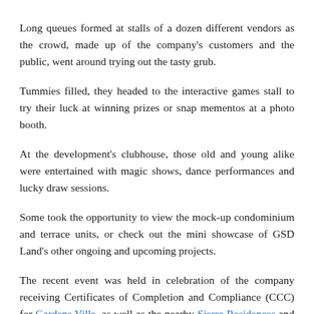Long queues formed at stalls of a dozen different vendors as the crowd, made up of the company's customers and the public, went around trying out the tasty grub.
Tummies filled, they headed to the interactive games stall to try their luck at winning prizes or snap mementos at a photo booth.
At the development's clubhouse, those old and young alike were entertained with magic shows, dance performances and lucky draw sessions.
Some took the opportunity to view the mock-up condominium and terrace units, or check out the mini showcase of GSD Land's other ongoing and upcoming projects.
The recent event was held in celebration of the company receiving Certificates of Completion and Compliance (CCC) for Gardens Ville, as well as the nearby Sierra Residences and Ara Greens.
The company's project planning and development director Lee